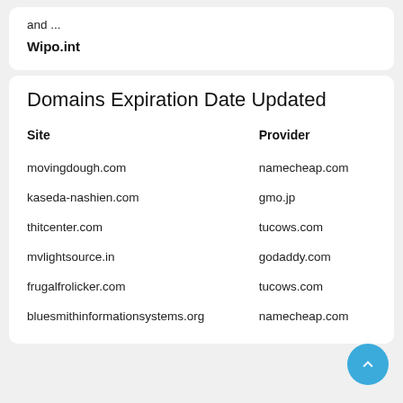and ...
Wipo.int
Domains Expiration Date Updated
| Site | Provider |
| --- | --- |
| movingdough.com | namecheap.com |
| kaseda-nashien.com | gmo.jp |
| thitcenter.com | tucows.com |
| mvlightsource.in | godaddy.com |
| frugalfrolicker.com | tucows.com |
| bluesmithinformationsystems.org | namecheap.com |